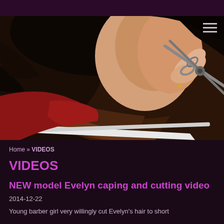[Figure (photo): Close-up photo of a barber cutting a young woman's dark hair with scissors. The subject wears a red barber cape. The barber's hand is visible holding silver scissors near the nape of the neck.]
Home » VIDEOS
VIDEOS
NEW model Evelyn caping and cutting video
2014-12-22
Young barber girl very willingly cut Evelyn's hair to short